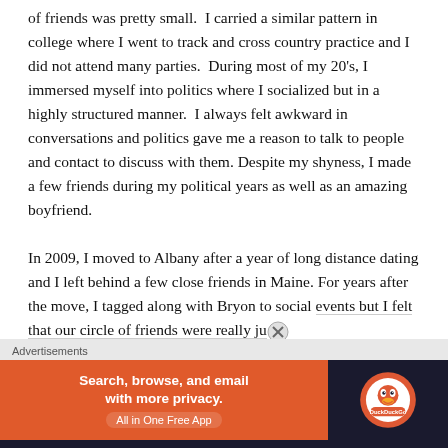of friends was pretty small.  I carried a similar pattern in college where I went to track and cross country practice and I did not attend many parties.  During most of my 20's, I immersed myself into politics where I socialized but in a highly structured manner.  I always felt awkward in conversations and politics gave me a reason to talk to people and contact to discuss with them. Despite my shyness, I made a few friends during my political years as well as an amazing boyfriend.

In 2009, I moved to Albany after a year of long distance dating and I left behind a few close friends in Maine. For years after the move, I tagged along with Bryon to social events but I felt that our circle of friends were really ju…
[Figure (other): Advertisement banner for DuckDuckGo app with text 'Search, browse, and email with more privacy. All in One Free App' on orange background and DuckDuckGo logo on dark background]